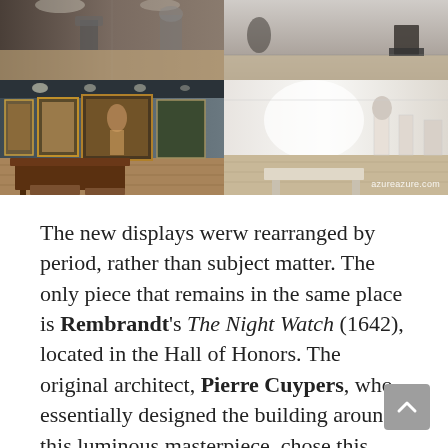[Figure (photo): 2x2 grid of museum interior photos showing gallery halls with paintings, sculptures, and wooden floors. Bottom-right photo has watermark 'azureazure.com']
The new displays werw rearranged by period, rather than subject matter. The only piece that remains in the same place is Rembrandt's The Night Watch (1642), located in the Hall of Honors. The original architect, Pierre Cuypers, who essentially designed the building around this luminous masterpiece, chose this location. This work is considered the greatest jewel in the Rijks...